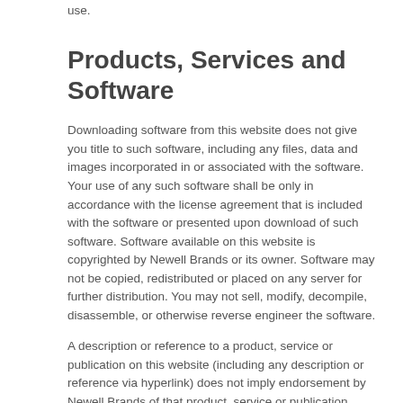use.
Products, Services and Software
Downloading software from this website does not give you title to such software, including any files, data and images incorporated in or associated with the software. Your use of any such software shall be only in accordance with the license agreement that is included with the software or presented upon download of such software. Software available on this website is copyrighted by Newell Brands or its owner. Software may not be copied, redistributed or placed on any server for further distribution. You may not sell, modify, decompile, disassemble, or otherwise reverse engineer the software.
A description or reference to a product, service or publication on this website (including any description or reference via hyperlink) does not imply endorsement by Newell Brands of that product, service or publication. Products and software offered through this website shall be warranted, if at all, through the written license or warranty provided in connection with such product or